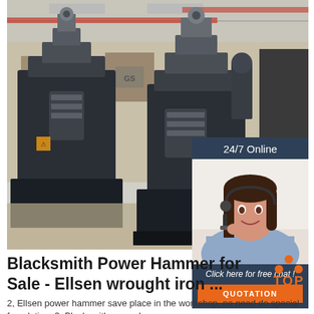[Figure (photo): Industrial warehouse photo showing two large dark blue/black Blacksmith power hammer machines on a factory floor, with overhead cranes and warehouse shelving visible in the background. An inset chat widget in the top-right corner shows '24/7 Online', a customer service woman with a headset, 'Click here for free chat!' text, and an orange QUOTATION button.]
Blacksmith Power Hammer for Sale - Ellsen wrought iron ...
2, Ellsen power hammer save place in the workshop, no need do special foundation. 3, Blacksmith power hammer